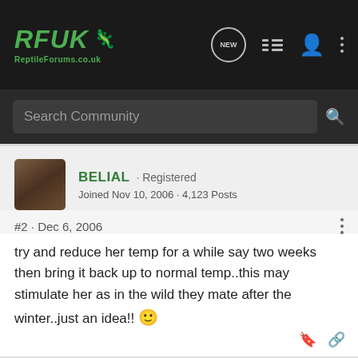RFUK ReptileForums.co.uk — navigation bar
Search Community
BELIAL · Registered
Joined Nov 10, 2006 · 4,123 Posts
#2 · Dec 6, 2006
try and reduce her temp for a while say two weeks then bring it back up to normal temp..this may stimulate her as in the wild they mate after the winter..just an idea!! 🙂